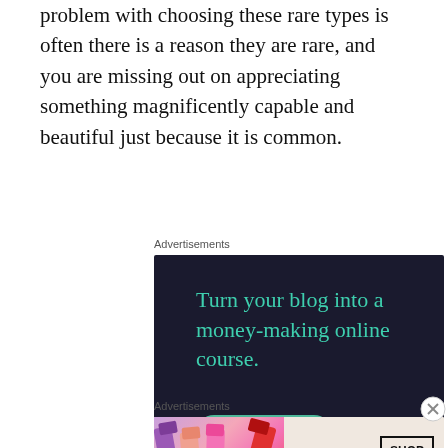problem with choosing these rare types is often there is a reason they are rare, and you are missing out on appreciating something magnificently capable and beautiful just because it is common.
Advertisements
[Figure (infographic): Dark navy advertisement for Sensei: 'Turn your blog into a money-making online course.' with a teal Learn More button and Sensei branding logo at bottom right.]
Advertisements
[Figure (infographic): MAC cosmetics advertisement showing colorful lipsticks on the left, MAC logo in the center, and a SHOP NOW box on the right.]